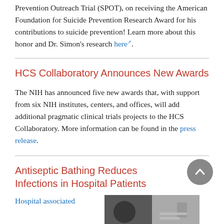Prevention Outreach Trial (SPOT), on receiving the American Foundation for Suicide Prevention Research Award for his contributions to suicide prevention! Learn more about this honor and Dr. Simon's research here.
HCS Collaboratory Announces New Awards
The NIH has announced five new awards that, with support from six NIH institutes, centers, and offices, will add additional pragmatic clinical trials projects to the HCS Collaboratory. More information can be found in the press release.
Antiseptic Bathing Reduces Infections in Hospital Patients
Hospital associated
[Figure (photo): Photo related to antiseptic bathing in hospital patients]